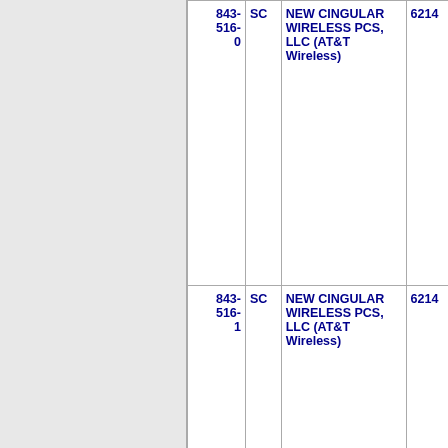| Number | State | Licensee Name | Code |
| --- | --- | --- | --- |
| 843-516-0 | SC | NEW CINGULAR WIRELESS PCS, LLC (AT&T Wireless) | 6214 |
| 843-516-1 | SC | NEW CINGULAR WIRELESS PCS, LLC (AT&T Wireless) | 6214 |